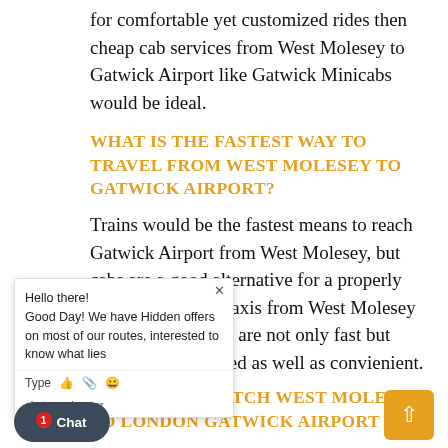for comfortable yet customized rides then cheap cab services from West Molesey to Gatwick Airport like Gatwick Minicabs would be ideal.
WHAT IS THE FASTEST WAY TO TRAVEL FROM WEST MOLESEY TO GATWICK AIRPORT?
Trains would be the fastest means to reach Gatwick Airport from West Molesey, but cabs are a good alternative for a properly pre-planned trip. Taxis from West Molesey to Gatwick Airport are not only fast but competitively priced as well as convienient.
WHERE DO I CATCH WEST MOLESEY TO LONDON GATWICK AIRPORT BUS